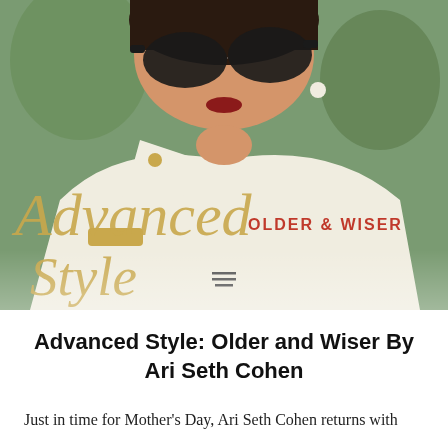[Figure (photo): Woman in white clothing pulling down sunglasses, book cover for 'Advanced Style: Older and Wiser' by Ari Seth Cohen. Script lettering 'Advanced Style' in gold, with 'OLDER & WISER' in red capital letters overlaid on the photo.]
Advanced Style: Older and Wiser By Ari Seth Cohen
Just in time for Mother's Day, Ari Seth Cohen returns with